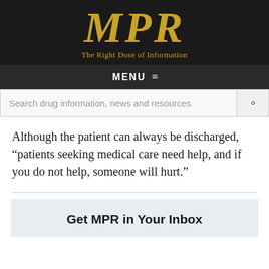[Figure (logo): MPR logo — large gold italic serif letters 'MPR' on black background with tagline 'The Right Dose of Information' in gold below]
MENU ☰
Search drug information, news and resources
Although the patient can always be discharged, "patients seeking medical care need help, and if you do not help, someone will hurt."
Get MPR in Your Inbox